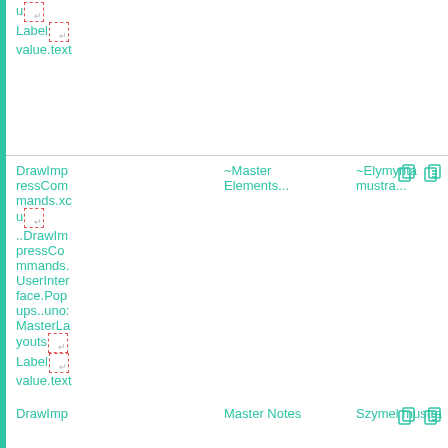| Command | ~Master Elements... | ~Elymynta mustra... | Actions |
| --- | --- | --- | --- |
| DrawImpressCommands.xcu
[dashed icon]
..DrawImpressCommands.UserInterface.Popups..uno:MasterLayouts
[dashed icon]
Label
[dashed icon]
value.text | ~Master Elements... | ~Elymynta mustra... | [icons] |
| DrawImpressCommands | Master Notes | Szymel mustra | [icons] |